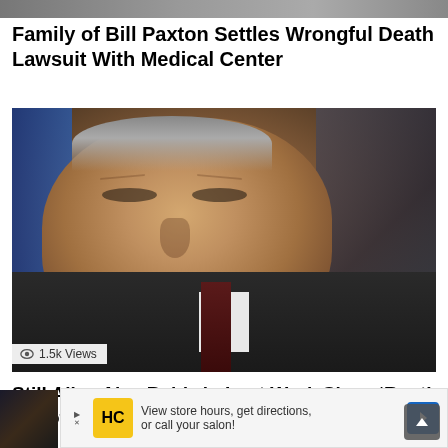[Figure (photo): Top strip of a photo, partially cropped]
Family of Bill Paxton Settles Wrongful Death Lawsuit With Medical Center
[Figure (photo): Photo of Alec Baldwin in a dark suit with a dark red tie, 1.5k Views label]
Still Alive Alec Baldwin Lost Work Since ‘Rust’ Shooting Because It Is All About Him
[Figure (other): Advertisement banner: HC salon logo, 'View store hours, get directions, or call your salon!']